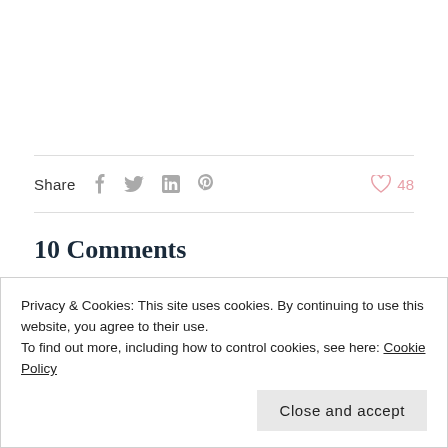Share  f  in  48
10 Comments
Fashion Limbo says: March 28, 2011 at 11:35 am
Privacy & Cookies: This site uses cookies. By continuing to use this website, you agree to their use.
To find out more, including how to control cookies, see here: Cookie Policy
Close and accept